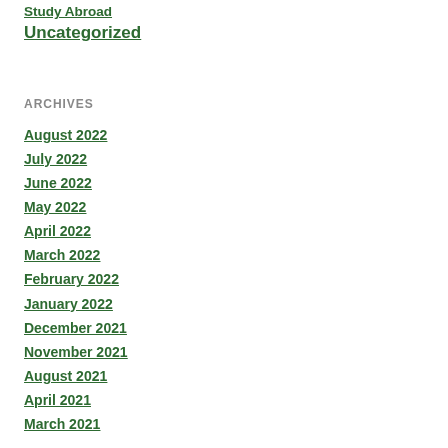Study Abroad
Uncategorized
ARCHIVES
August 2022
July 2022
June 2022
May 2022
April 2022
March 2022
February 2022
January 2022
December 2021
November 2021
August 2021
April 2021
March 2021